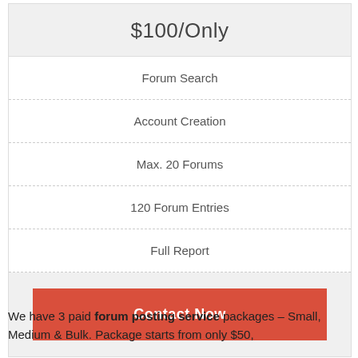$100/Only
Forum Search
Account Creation
Max. 20 Forums
120 Forum Entries
Full Report
Contact Now
We have 3 paid forum posting service packages – Small, Medium & Bulk. Package starts from only $50,